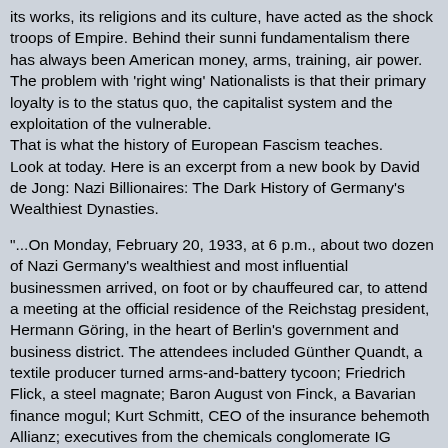its works, its religions and its culture, have acted as the shock troops of Empire. Behind their sunni fundamentalism there has always been American money, arms, training, air power.
The problem with 'right wing' Nationalists is that their primary loyalty is to the status quo, the capitalist system and the exploitation of the vulnerable.
That is what the history of European Fascism teaches.
Look at today. Here is an excerpt from a new book by David de Jong: Nazi Billionaires: The Dark History of Germany's Wealthiest Dynasties.

"...On Monday, February 20, 1933, at 6 p.m., about two dozen of Nazi Germany's wealthiest and most influential businessmen arrived, on foot or by chauffeured car, to attend a meeting at the official residence of the Reichstag president, Hermann Göring, in the heart of Berlin's government and business district. The attendees included Günther Quandt, a textile producer turned arms-and-battery tycoon; Friedrich Flick, a steel magnate; Baron August von Finck, a Bavarian finance mogul; Kurt Schmitt, CEO of the insurance behemoth Allianz; executives from the chemicals conglomerate IG Farben and the potash giant Wintershall; and Gustav Krupp von Bohlen und Halbach, chairman-through-marriage of the Krupp steel empire.

"The purpose of that meeting was not to sell big business on anti-semitism, Hitler's plans for world conquest, or the Holocaust. Hitler's regime as we now know it was not up for